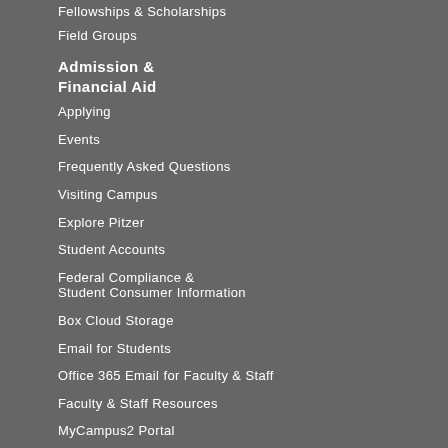Fellowships & Scholarships
Field Groups
Admission & Financial Aid
Applying
Events
Frequently Asked Questions
Visiting Campus
Explore Pitzer
Student Accounts
Federal Compliance & Student Consumer Information
Box Cloud Storage
Email for Students
Office 365 Email for Faculty & Staff
Faculty & Staff Resources
MyCampus2 Portal
Pitzer Store
Social Media Directory
Sakai